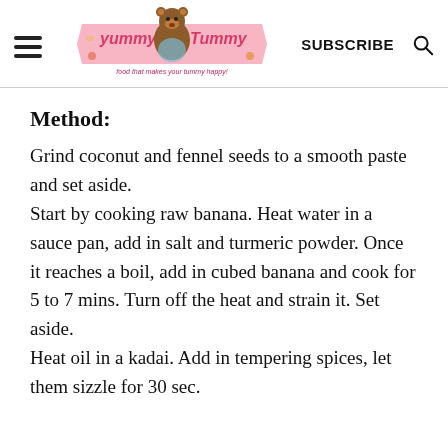Yummy Tummy — food that makes your tummy happy! SUBSCRIBE
Method:
Grind coconut and fennel seeds to a smooth paste and set aside. Start by cooking raw banana. Heat water in a sauce pan, add in salt and turmeric powder. Once it reaches a boil, add in cubed banana and cook for 5 to 7 mins. Turn off the heat and strain it. Set aside. Heat oil in a kadai. Add in tempering spices, let them sizzle for 30 sec.